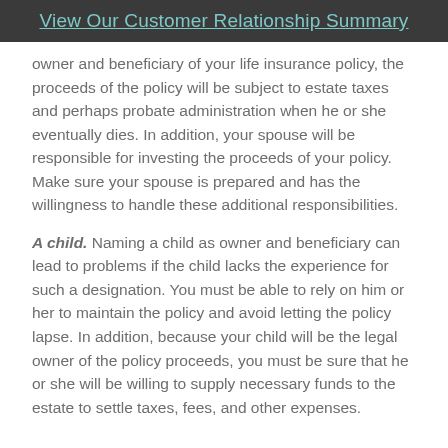View Our Customer Relationship Summary
owner and beneficiary of your life insurance policy, the proceeds of the policy will be subject to estate taxes and perhaps probate administration when he or she eventually dies. In addition, your spouse will be responsible for investing the proceeds of your policy. Make sure your spouse is prepared and has the willingness to handle these additional responsibilities.
A child. Naming a child as owner and beneficiary can lead to problems if the child lacks the experience for such a designation. You must be able to rely on him or her to maintain the policy and avoid letting the policy lapse. In addition, because your child will be the legal owner of the policy proceeds, you must be sure that he or she will be willing to supply necessary funds to the estate to settle taxes, fees, and other expenses.